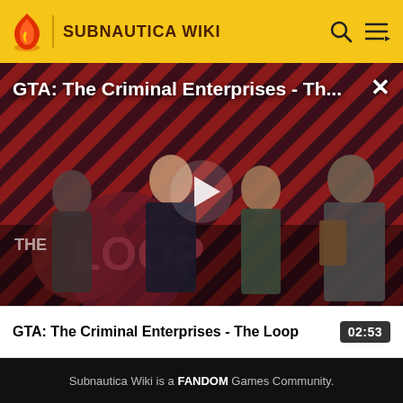SUBNAUTICA WIKI
[Figure (screenshot): Video thumbnail for GTA: The Criminal Enterprises - The Loop. Shows game characters against a red and dark diagonal stripe background with THE LOOP logo. A play button is overlaid in the center. Title 'GTA: The Criminal Enterprises - Th...' appears at the top with a close (X) button.]
GTA: The Criminal Enterprises - The Loop
02:53
Subnautica Wiki is a FANDOM Games Community.
VIEW FULL SITE